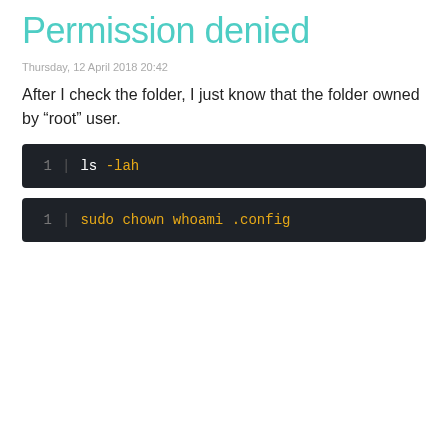Permission denied
Thursday, 12 April 2018 20:42
After I check the folder, I just know that the folder owned by "root" user.
1 | ls -lah
1 | sudo chown whoami .config